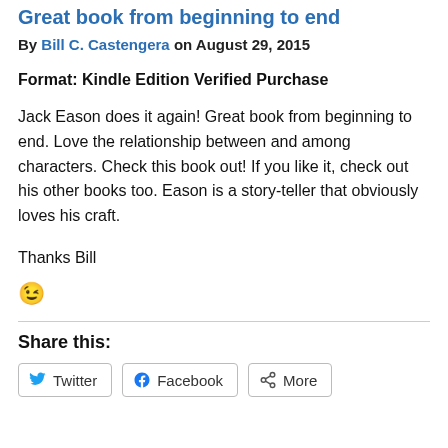Great book from beginning to end
By Bill C. Castengera on August 29, 2015
Format: Kindle Edition Verified Purchase
Jack Eason does it again! Great book from beginning to end. Love the relationship between and among characters. Check this book out! If you like it, check out his other books too. Eason is a story-teller that obviously loves his craft.
Thanks Bill
😉
Share this:
Twitter  Facebook  More